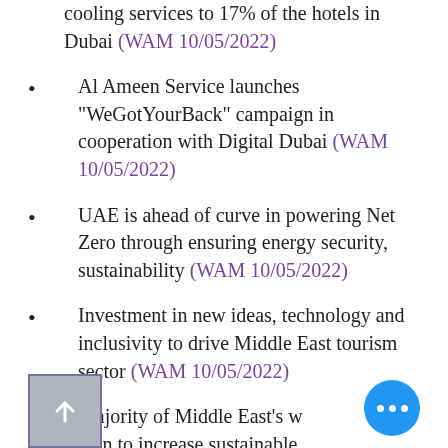cooling services to 17% of the hotels in Dubai (WAM 10/05/2022)
Al Ameen Service launches "WeGotYourBack" campaign in cooperation with Digital Dubai (WAM 10/05/2022)
UAE is ahead of curve in powering Net Zero through ensuring energy security, sustainability (WAM 10/05/2022)
Investment in new ideas, technology and inclusivity to drive Middle East tourism sector (WAM 10/05/2022)
Majority of Middle East's w... plan to increase sustainable